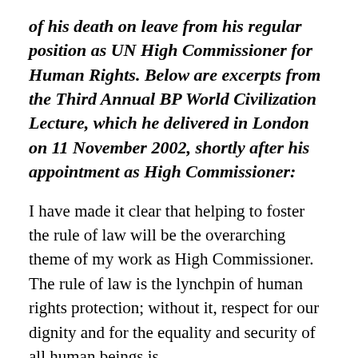of his death on leave from his regular position as UN High Commissioner for Human Rights. Below are excerpts from the Third Annual BP World Civilization Lecture, which he delivered in London on 11 November 2002, shortly after his appointment as High Commissioner:
I have made it clear that helping to foster the rule of law will be the overarching theme of my work as High Commissioner. The rule of law is the lynchpin of human rights protection; without it, respect for our dignity and for the equality and security of all human beings is